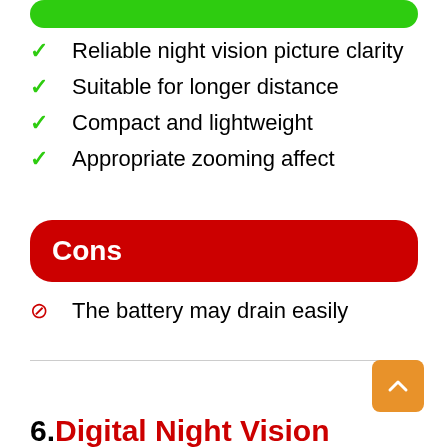Reliable night vision picture clarity
Suitable for longer distance
Compact and lightweight
Appropriate zooming affect
Cons
The battery may drain easily
6. Digital Night Vision